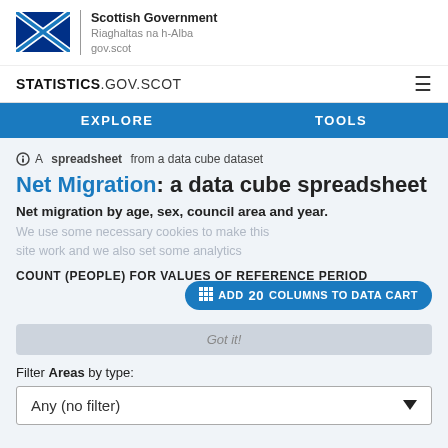[Figure (logo): Scottish Government logo with Saltire flag and text: Scottish Government, Riaghaltas na h-Alba, gov.scot]
STATISTICS.GOV.SCOT
EXPLORE   TOOLS
A spreadsheet from a data cube dataset
Net Migration: a data cube spreadsheet
Net migration by age, sex, council area and year.
We use some necessary cookies to make this site work and we also set some analytics
COUNT (PEOPLE) FOR VALUES OF REFERENCE PERIOD
ADD 20 COLUMNS TO DATA CART
Got it!
Filter Areas by type:
Any (no filter)